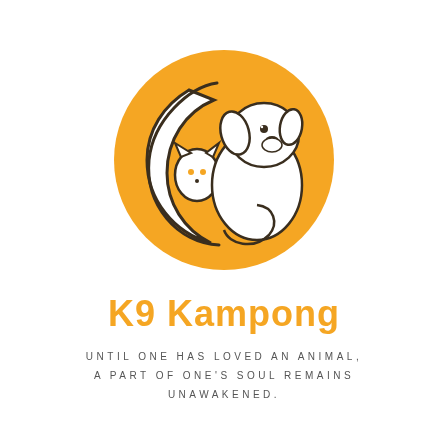[Figure (logo): K9 Kampong logo: a golden/amber circle containing a white crescent moon shape interlocked with a white dog silhouette and a small cat face, all outlined in dark brown/charcoal.]
K9 Kampong
UNTIL ONE HAS LOVED AN ANIMAL, A PART OF ONE'S SOUL REMAINS UNAWAKENED.